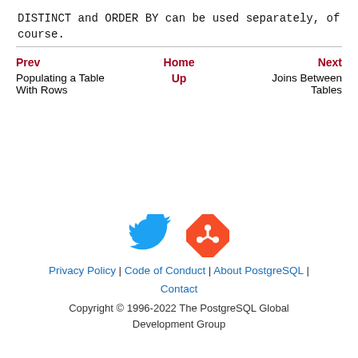DISTINCT and ORDER BY can be used separately, of course.
| Prev | Home | Next |
| --- | --- | --- |
| Populating a Table With Rows | Up | Joins Between Tables |
[Figure (illustration): Twitter bird icon (blue) and Git logo icon (orange/red diamond shape)]
Privacy Policy | Code of Conduct | About PostgreSQL | Contact
Copyright © 1996-2022 The PostgreSQL Global Development Group